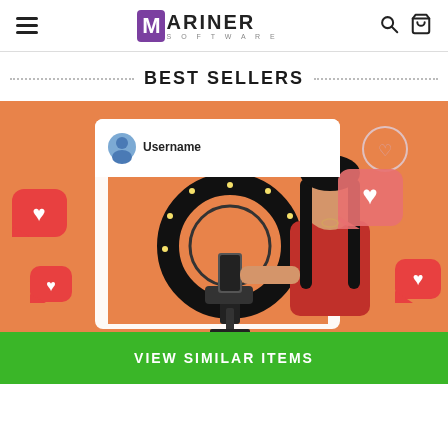MARINER SOFTWARE — navigation header with hamburger menu, logo, search and cart icons
BEST SELLERS
[Figure (photo): Product photo on orange background: an Asian woman in a red top using a ring light with a phone holder for social media content creation. The image is framed as a social media post with 'Username' label and profile photo, surrounded by 3D red heart/like notification icons floating around. Orange background throughout.]
VIEW SIMILAR ITEMS